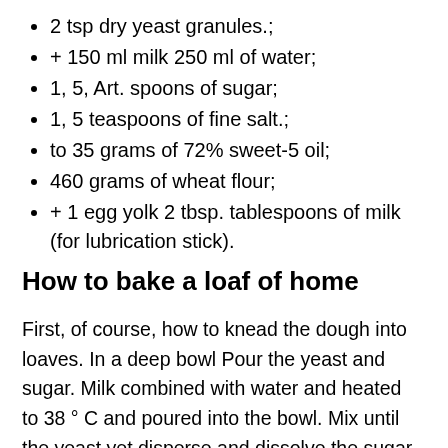2 tsp dry yeast granules.;
+ 150 ml milk 250 ml of water;
1, 5, Art. spoons of sugar;
1, 5 teaspoons of fine salt.;
to 35 grams of 72% sweet-5 oil;
460 grams of wheat flour;
+ 1 egg yolk 2 tbsp. tablespoons of milk (for lubrication stick).
How to bake a loaf of home
First, of course, how to knead the dough into loaves. In a deep bowl Pour the yeast and sugar. Milk combined with water and heated to 38 ° C and poured into the bowl. Mix until the yeast yet disperse and dissolve the sugar. Set aside the bowl aside for 12-15 minutes, during which time there will be the formation of foam caps on the surface of the entire mass. Meanwhile presoom flour and melt the